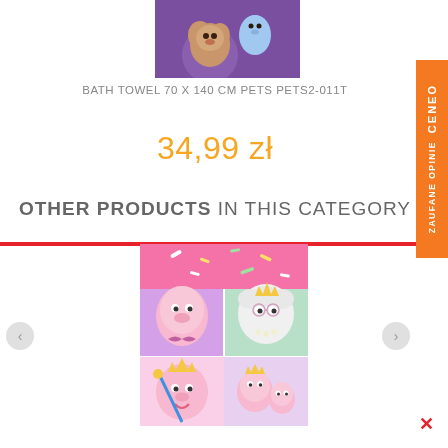[Figure (photo): Product image of Pets bath towel showing cartoon animal characters on a purple background, partially visible at top]
BATH TOWEL 70 X 140 CM PETS PETS2-011T
34,99 zł
OTHER PRODUCTS IN THIS CATEGORY
[Figure (photo): Peppa Pig themed bath towel product image showing Peppa Pig and friends characters in pink and purple colors arranged in a grid pattern with crown accessories]
[Figure (other): Ceneo orange side tab with text ZAUFANE OPINIE CENEO]